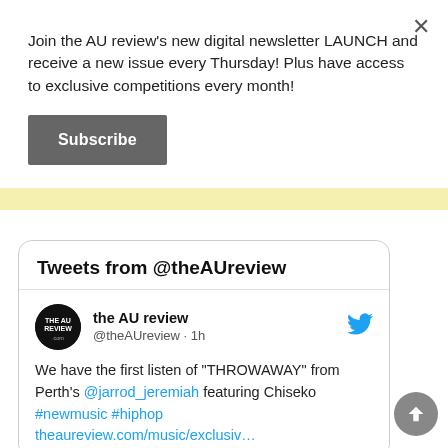Join the AU review's new digital newsletter LAUNCH and receive a new issue every Thursday! Plus have access to exclusive competitions every month!
Subscribe
Tweets from @theAUreview
the AU review @theAUreview · 1h
We have the first listen of "THROWAWAY" from Perth's @jarrod_jeremiah featuring Chiseko #newmusic #hiphop theaureview.com/music/exclusiv…